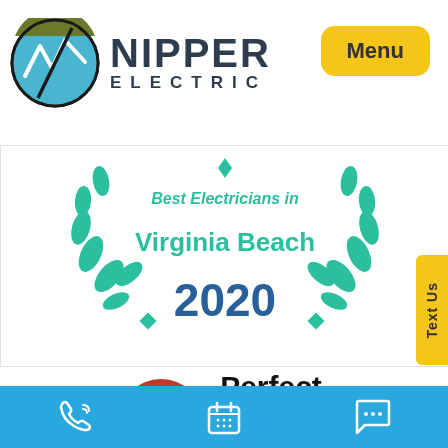[Figure (logo): Nipper Electric company logo with circular emblem and text NIPPER ELECTRIC, plus Menu button in yellow]
[Figure (illustration): Best Electricians in Virginia Beach 2020 award badge with teal laurel wreath]
[Figure (illustration): Yelp People Love Us badge with Perfect 5-Star Rating text and five red star boxes]
[Figure (illustration): Blue bottom navigation bar with phone, calendar, and chat icons]